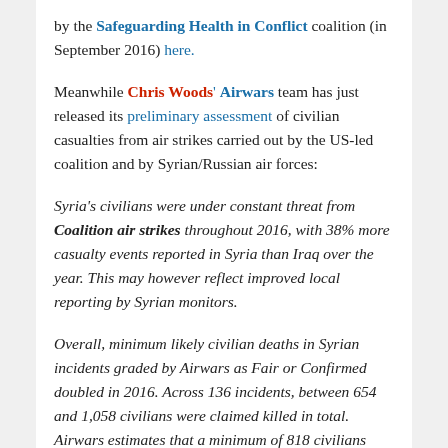by the Safeguarding Health in Conflict coalition (in September 2016) here.
Meanwhile Chris Woods' Airwars team has just released its preliminary assessment of civilian casualties from air strikes carried out by the US-led coalition and by Syrian/Russian air forces:
Syria's civilians were under constant threat from Coalition air strikes throughout 2016, with 38% more casualty events reported in Syria than Iraq over the year. This may however reflect improved local reporting by Syrian monitors.
Overall, minimum likely civilian deaths in Syrian incidents graded by Airwars as Fair or Confirmed doubled in 2016. Across 136 incidents, between 654 and 1,058 civilians were claimed killed in total. Airwars estimates that a minimum of 818 civilians were likely injured in Fair and Confirmed events in Syria alone.
There were major spikes in February, in June and July